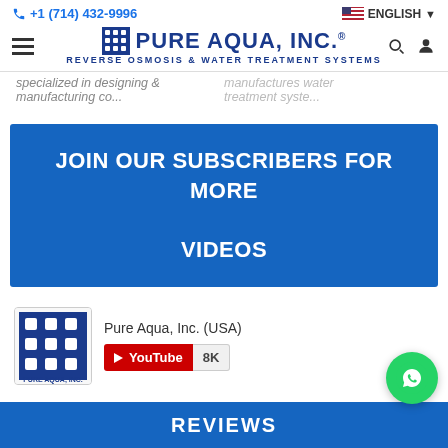+1 (714) 432-9996 | ENGLISH
[Figure (logo): Pure Aqua, Inc. logo with grid icon and tagline: REVERSE OSMOSIS & WATER TREATMENT SYSTEMS]
specialized in designing & manufacturing co... | manufactures water treatment syste...
[Figure (infographic): Blue CTA banner: JOIN OUR SUBSCRIBERS FOR MORE VIDEOS]
[Figure (logo): Pure Aqua, Inc. YouTube channel widget with 8K subscribers]
[Figure (other): WhatsApp contact bubble (green circle with WhatsApp icon)]
REVIEWS